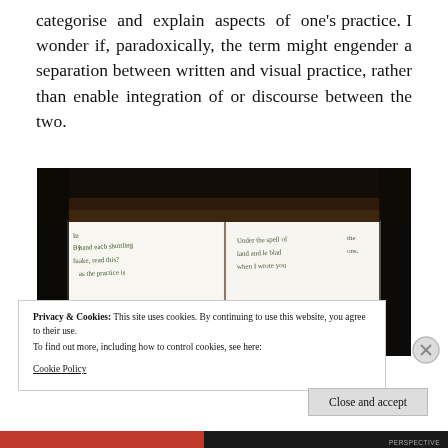categorise and explain aspects of one's practice. I wonder if, paradoxically, the term might engender a separation between written and visual practice, rather than enable integration of or discourse between the two.
[Figure (photo): A photo of an open notebook/journal with handwritten text visible on both pages, shot against a dark background.]
Privacy & Cookies: This site uses cookies. By continuing to use this website, you agree to their use.
To find out more, including how to control cookies, see here: Cookie Policy